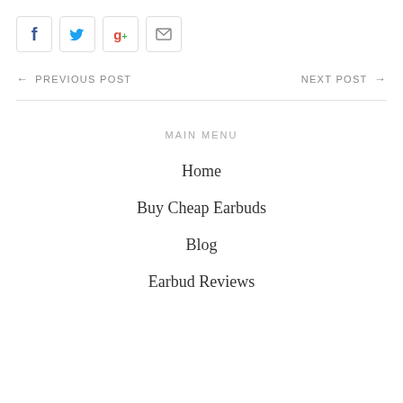[Figure (other): Social sharing icon buttons: Facebook (f), Twitter (bird), Google+ (g+), Email (envelope)]
← PREVIOUS POST
NEXT POST →
MAIN MENU
Home
Buy Cheap Earbuds
Blog
Earbud Reviews